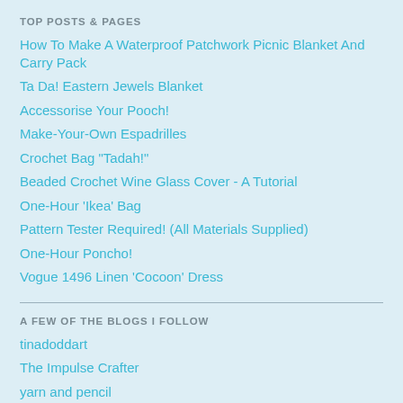TOP POSTS & PAGES
How To Make A Waterproof Patchwork Picnic Blanket And Carry Pack
Ta Da! Eastern Jewels Blanket
Accessorise Your Pooch!
Make-Your-Own Espadrilles
Crochet Bag "Tadah!"
Beaded Crochet Wine Glass Cover - A Tutorial
One-Hour 'Ikea' Bag
Pattern Tester Required! (All Materials Supplied)
One-Hour Poncho!
Vogue 1496 Linen 'Cocoon' Dress
A FEW OF THE BLOGS I FOLLOW
tinadoddart
The Impulse Crafter
yarn and pencil